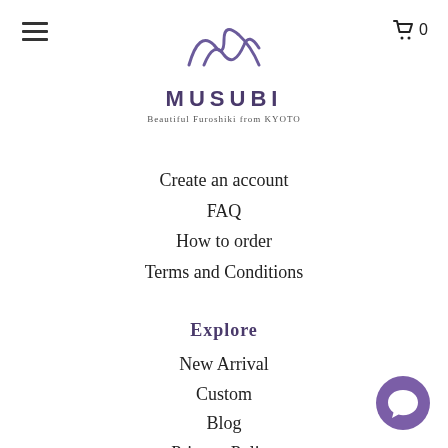[Figure (logo): Musubi logo with decorative wave/knot SVG icon above text 'MUSUBI' and tagline 'Beautiful Furoshiki from KYOTO']
Create an account
FAQ
How to order
Terms and Conditions
Explore
New Arrival
Custom
Blog
Privacy Policy
Shipping and Taxes
Video